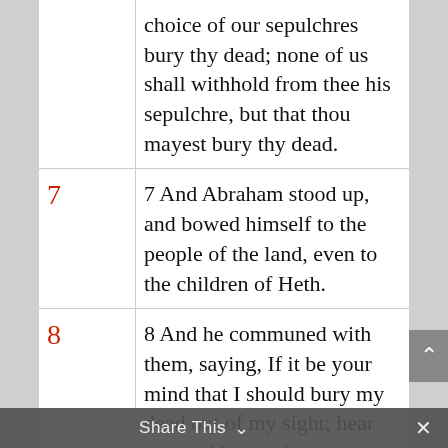choice of our sepulchres bury thy dead; none of us shall withhold from thee his sepulchre, but that thou mayest bury thy dead.
7 And Abraham stood up, and bowed himself to the people of the land, even to the children of Heth.
8 And he communed with them, saying, If it be your mind that I should bury my dead out of my sight; hear me, and intreat for me to Ephron the son of Zohar,